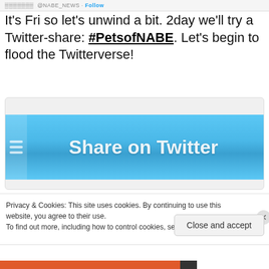@NABE_NEWS · Follow
It's Fri so let's unwind a bit. 2day we'll try a Twitter-share: #PetsofNABE. Let's begin to flood the Twitterverse!
[Figure (screenshot): A blurred Twitter 'Share on Twitter' button with blue background and white text]
Privacy & Cookies: This site uses cookies. By continuing to use this website, you agree to their use.
To find out more, including how to control cookies, see here: Cookie Policy
Close and accept